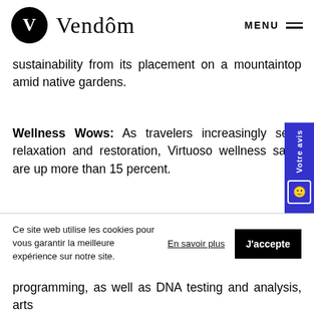Vendôm
sustainability from its placement on a mountaintop amid native gardens.
Wellness Wows: As travelers increasingly seek relaxation and restoration, Virtuoso wellness sales are up more than 15 percent.
Waldhotel & Med Excellence in Switzerland focuses on prevention and regeneration, with specialist consultations and personalized treatment plans that continue once
Ce site web utilise les cookies pour vous garantir la meilleure expérience sur notre site.
programming, as well as DNA testing and analysis, arts